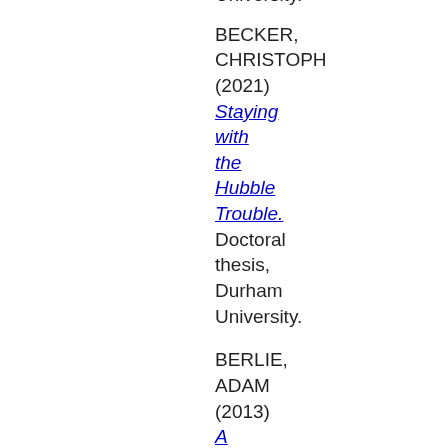University.
BECKER, CHRISTOPH (2021) Staying with the Hubble Trouble. Doctoral thesis, Durham University.
BERLIE, ADAM (2013) A Study of Magnetic Materials